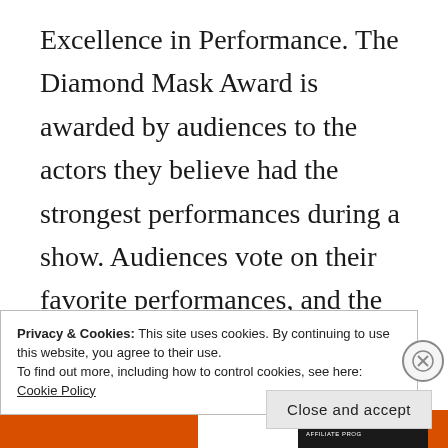Excellence in Performance.  The Diamond Mask Award  is awarded by audiences to the actors they believe had the strongest performances during a show.  Audiences vote on their favorite performances, and the winners are announced on closing night.  Actors can win the Diamond Mask multiple times, and it is a recognition of their hard work and dedication to their
Privacy & Cookies: This site uses cookies. By continuing to use this website, you agree to their use.
To find out more, including how to control cookies, see here:
Cookie Policy
Close and accept